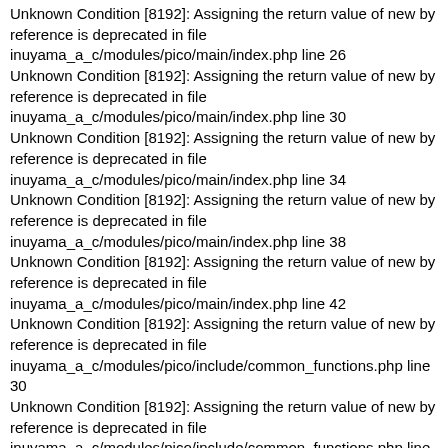Unknown Condition [8192]: Assigning the return value of new by reference is deprecated in file inuyama_a_c/modules/pico/main/index.php line 26
Unknown Condition [8192]: Assigning the return value of new by reference is deprecated in file inuyama_a_c/modules/pico/main/index.php line 30
Unknown Condition [8192]: Assigning the return value of new by reference is deprecated in file inuyama_a_c/modules/pico/main/index.php line 34
Unknown Condition [8192]: Assigning the return value of new by reference is deprecated in file inuyama_a_c/modules/pico/main/index.php line 38
Unknown Condition [8192]: Assigning the return value of new by reference is deprecated in file inuyama_a_c/modules/pico/main/index.php line 42
Unknown Condition [8192]: Assigning the return value of new by reference is deprecated in file inuyama_a_c/modules/pico/include/common_functions.php line 30
Unknown Condition [8192]: Assigning the return value of new by reference is deprecated in file inuyama_a_c/modules/pico/include/common_functions.php line 31
Unknown Condition [8192]: Assigning the return value of new by reference is deprecated in file inuyama_a_c/modules/pico/class/PicoModelCategory.class.php line 34
Unknown Condition [8192]: Assigning the return value of new by